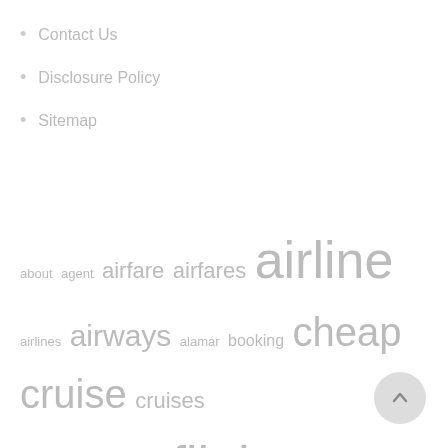Contact Us
Disclosure Policy
Sitemap
[Figure (infographic): Tag cloud with travel-related keywords in varying font sizes, all in light gray. Words include: about, agent, airfare, airfares, airline, airlines, airways, alamar, booking, cheap, cruise, cruises, discount, ebook, finest, flight, flights, greatest, guide, hotel, hotels, ideas, indonesia, information, international, island, islands, journey, lowcost, mountain, online, packages, preferences, price, resort, search, secret, sites, ticket, tickets, travel, vacation, world, worldwide, yahoo]